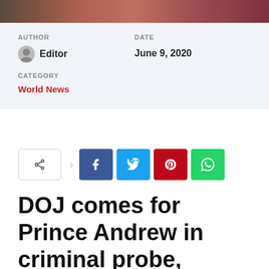[Figure (photo): Partial top image showing people, cropped at the top of the page]
AUTHOR
Editor
DATE
June 9, 2020
CATEGORY
World News
[Figure (infographic): Social share buttons: share toggle, Facebook, Twitter, Pinterest, WhatsApp]
DOJ comes for Prince Andrew in criminal probe, seeks interview